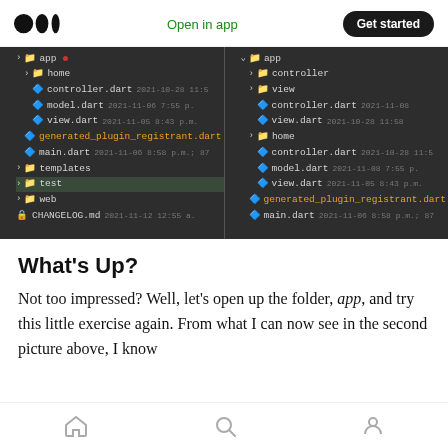Open in app   Get started
[Figure (screenshot): Two side-by-side dark-themed IDE file explorer panels showing a Flutter project folder structure with files like app, home, controller.dart, model.dart, view.dart, generated_plugin_registrant.dart, main.dart, templates, test, web, CHANGELOG.md on the left; and app with controller, view subfolders, home with controller.dart, model.dart, view.dart, generated_plugin_registrant.dart, main.dart on the right.]
What's Up?
Not too impressed? Well, let’s open up the folder, app, and try this little exercise again. From what I can now see in the second picture above, I know
Home  Search  Profile